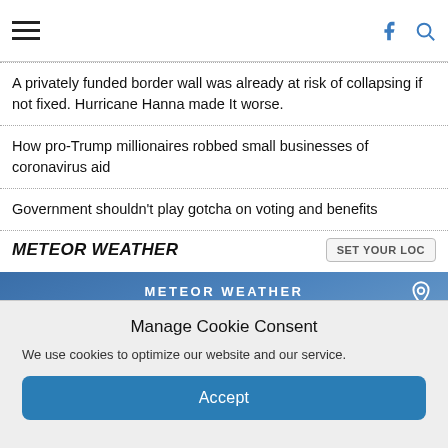Navigation bar with hamburger menu, Facebook icon, and search icon
A privately funded border wall was already at risk of collapsing if not fixed. Hurricane Hanna made It worse.
How pro-Trump millionaires robbed small businesses of coronavirus aid
Government shouldn't play gotcha on voting and benefits
METEOR WEATHER
[Figure (screenshot): Meteor Weather widget showing blue sky background with cloud icon and location pin icon]
Manage Cookie Consent
We use cookies to optimize our website and our service.
Accept